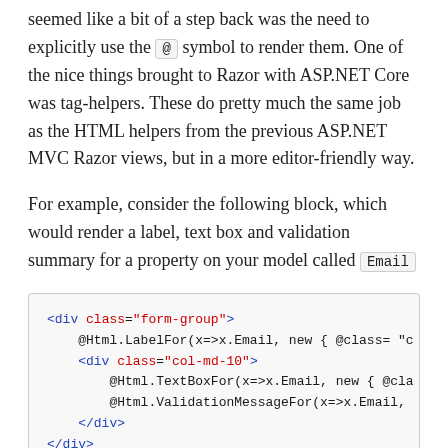seemed like a bit of a step back was the need to explicitly use the @ symbol to render them. One of the nice things brought to Razor with ASP.NET Core was tag-helpers. These do pretty much the same job as the HTML helpers from the previous ASP.NET MVC Razor views, but in a more editor-friendly way.
For example, consider the following block, which would render a label, text box and validation summary for a property on your model called Email
[Figure (screenshot): Code block showing HTML with @Html helpers: <div class="form-group">, @Html.LabelFor, <div class="col-md-10">, @Html.TextBoxFor, @Html.ValidationMessageFor, </div>, </div>]